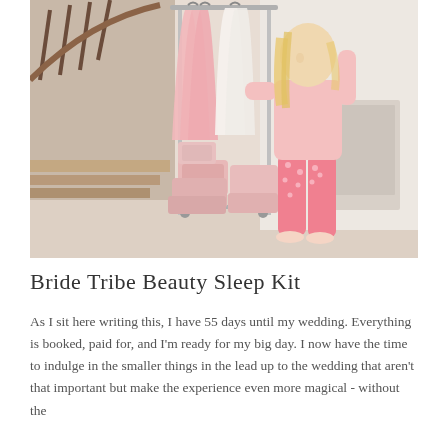[Figure (photo): A blonde woman in a pink long-sleeve top and pink polka-dot capri pants stands at a clothing rack filled with pink robes and white garments on hangers. Below the rack are several pink luggage bags and a small train case. The setting appears to be a home entryway with a staircase visible in the background.]
Bride Tribe Beauty Sleep Kit
As I sit here writing this, I have 55 days until my wedding. Everything is booked, paid for, and I'm ready for my big day. I now have the time to indulge in the smaller things in the lead up to the wedding that aren't that important but make the experience even more magical - without the